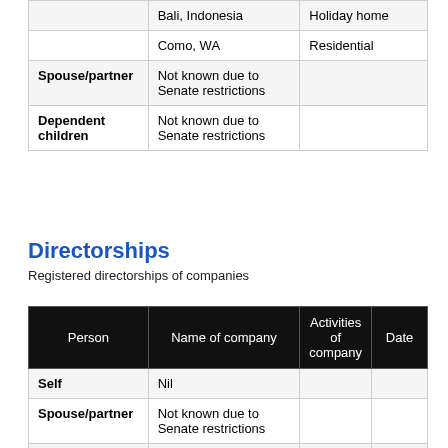|  |  |  |
| --- | --- | --- |
|  | Bali, Indonesia | Holiday home |
|  | Como, WA | Residential |
| Spouse/partner | Not known due to Senate restrictions |  |
| Dependent children | Not known due to Senate restrictions |  |
Directorships
Registered directorships of companies
| Person | Name of company | Activities of company | Date |
| --- | --- | --- | --- |
| Self | Nil |  |  |
| Spouse/partner | Not known due to Senate restrictions |  |  |
| Dependent children | Not known due to Senate restrictions |  |  |